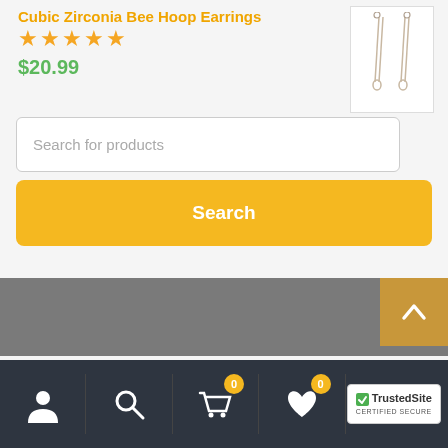Cubic Zirconia Bee Hoop Earrings
[Figure (photo): Product photo of Cubic Zirconia Bee Hoop Earrings — two hoop earrings shown against white background]
★★★★★
$20.99
Search for products
Search
[Figure (logo): TrustedSite CERTIFIED SECURE badge]
Navigation icons: user account, search, cart (0), wishlist (0), TrustedSite badge